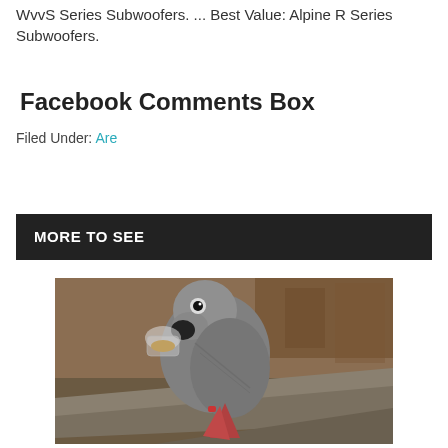WvvS Series Subwoofers. ... Best Value: Alpine R Series Subwoofers.
Facebook Comments Box
Filed Under: Are
MORE TO SEE
[Figure (photo): A grey parrot on a branch drinking or eating from a small glass/cup container, photographed in what appears to be an enclosure with wooden elements in the background.]